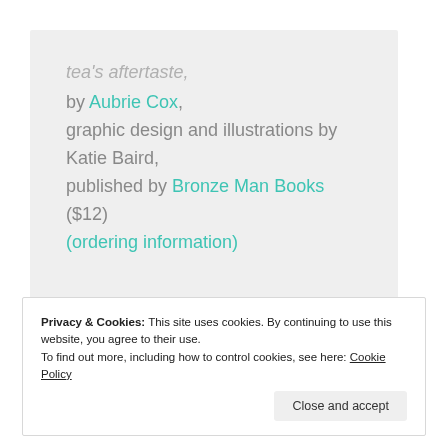tea's aftertaste, by Aubrie Cox, graphic design and illustrations by Katie Baird, published by Bronze Man Books ($12) (ordering information)
Privacy & Cookies: This site uses cookies. By continuing to use this website, you agree to their use. To find out more, including how to control cookies, see here: Cookie Policy